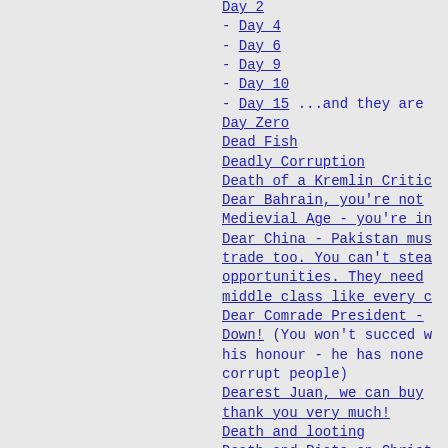Day of Shame?
Day 2
- Day 4
- Day 6
- Day 9
- Day 10
- Day 15 ...and they are
Day Zero
Dead Fish
Deadly Corruption
Death of a Kremlin Critic
Dear Bahrain, you're not
Medievial Age - you're in
Dear China - Pakistan mus
trade too. You can't stea
opportunities. They need
middle class like every c
Dear Comrade President -
Down! (You won't succed w
his honour - he has none
corrupt people)
Dearest Juan, we can buy
thank you very much!
Death and looting
Death and Riots on Christ
Manus island